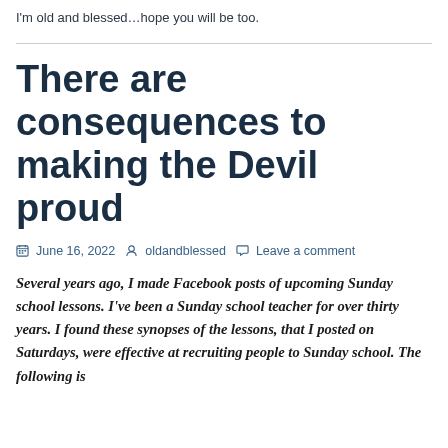I'm old and blessed…hope you will be too.
There are consequences to making the Devil proud
June 16, 2022   oldandblessed   Leave a comment
Several years ago, I made Facebook posts of upcoming Sunday school lessons. I've been a Sunday school teacher for over thirty years. I found these synopses of the lessons, that I posted on Saturdays, were effective at recruiting people to Sunday school. The following is